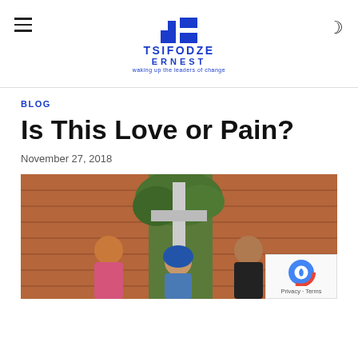TSIFODZE ERNEST — waking up the leaders of change
BLOG
Is This Love or Pain?
November 27, 2018
[Figure (photo): Three people standing in front of a brick wall with a large wooden cross structure. Surrounded by trees. One person in pink on the left, one woman in blue hijab in the center, one man in dark clothing on the right.]